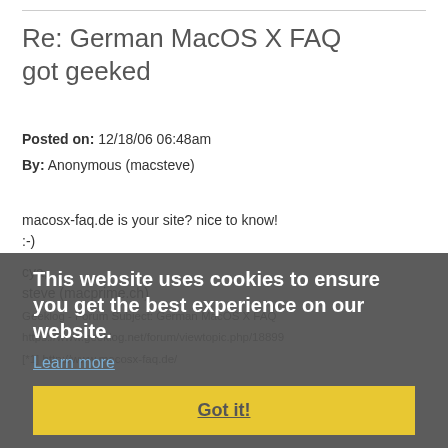Re: German MacOS X FAQ got geeked
Posted on: 12/18/06 06:48am
By: Anonymous (macsteve)
macosx-faq.de is your site? nice to know!
:-)

cya,
steve (macprime.ch)
Geeklog - Forum Subject: German MacOS X FAQ
https://www.geeklog.net/forum/viewtopic.php/18899
[*1] http://www.macosx-faq.de/
This website uses cookies to ensure you get the best experience on our website.
Learn more
Got it!